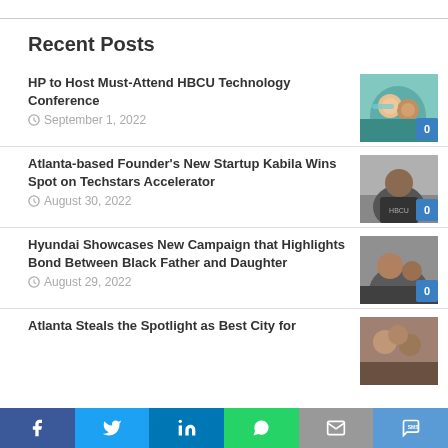Recent Posts
HP to Host Must-Attend HBCU Technology Conference
September 1, 2022
Atlanta-based Founder's New Startup Kabila Wins Spot on Techstars Accelerator
August 30, 2022
Hyundai Showcases New Campaign that Highlights Bond Between Black Father and Daughter
August 29, 2022
Atlanta Steals the Spotlight as Best City for …